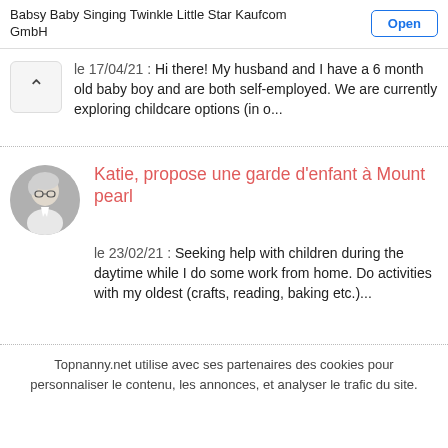Babsy Baby Singing Twinkle Little Star Kaufcom GmbH | Open
le 17/04/21 : Hi there! My husband and I have a 6 month old baby boy and are both self-employed. We are currently exploring childcare options (in o...
Katie, propose une garde d'enfant à Mount pearl
le 23/02/21 : Seeking help with children during the daytime while I do some work from home. Do activities with my oldest (crafts, reading, baking etc.)...
Topnanny.net utilise avec ses partenaires des cookies pour personnaliser le contenu, les annonces, et analyser le trafic du site.